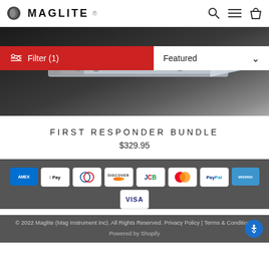MAGLITE
[Figure (photo): Product hero image showing a multi-tool/knife on a dark background with a Filter (1) button in red on the left and a Featured dropdown on the right]
FIRST RESPONDER BUNDLE
$329.95
[Figure (infographic): Payment method icons: American Express, Apple Pay, Diners Club, Discover, JCB, Mastercard, PayPal, Venmo, Visa]
© 2022 Maglite (Mag Instrument Inc). All Rights Reserved. Privacy Policy | Terms & Conditions
Powered by Shopify